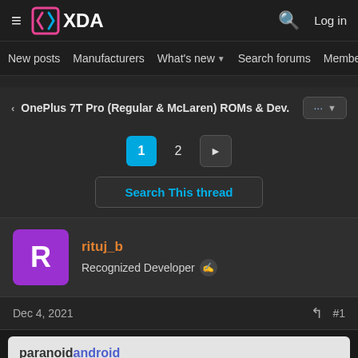XDA Developers - Log in
New posts  Manufacturers  What's new  Search forums  Members
OnePlus 7T Pro (Regular & McLaren) ROMs & Dev.
1  2  >
Search This thread
rituj_b
Recognized Developer
Dec 4, 2021  #1
paranoidandroid
SAPPHIRE 12 ALPHA